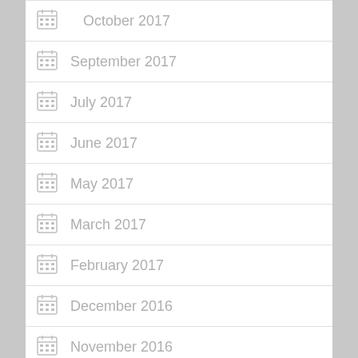October 2017
September 2017
July 2017
June 2017
May 2017
March 2017
February 2017
December 2016
November 2016
October 2016
September 2016